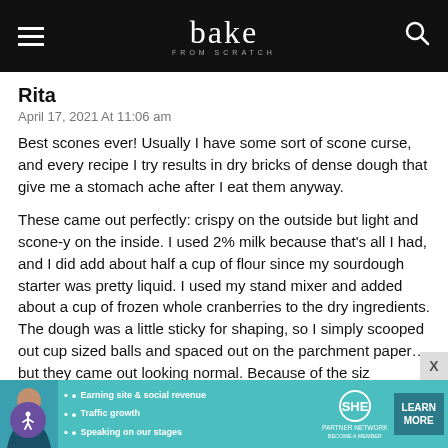bake
Rita
April 17, 2021 At 11:06 am
Best scones ever! Usually I have some sort of scone curse, and every recipe I try results in dry bricks of dense dough that give me a stomach ache after I eat them anyway.
These came out perfectly: crispy on the outside but light and scone-y on the inside. I used 2% milk because that's all I had, and I did add about half a cup of flour since my sourdough starter was pretty liquid. I used my stand mixer and added about a cup of frozen whole cranberries to the dry ingredients. The dough was a little sticky for shaping, so I simply scooped out cup sized balls and spaced out on the parchment paper… but they came out looking normal. Because of the siz
[Figure (screenshot): Advertisement banner for SHE Partner Network with woman photo, bullet points about earning site & social revenue, traffic growth, speaking on our stages, and a Learn More button]